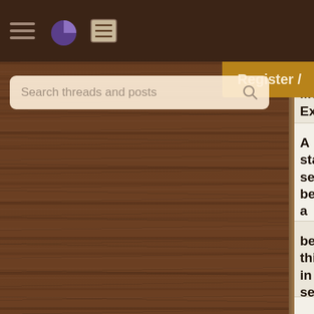Header bar with hamburger menu, pie icon, menu icon, and Register button
Search threads and posts
New Mock Exam questio... | 15 replies
A stateless session bean... a @PostConstruct metho... | 7 replies
bean things in setSessionContext... | 4 replies
operation allowed in dif... | 4 replies
SCBCD Exam Study Mate...